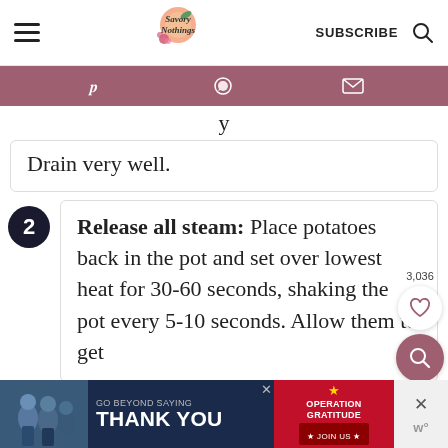Savory Nothings — SUBSCRIBE
[Figure (screenshot): Social sharing bar with Pinterest, WhatsApp, and email icons on mauve background]
Drain very well.
2 Release all steam: Place potatoes back in the pot and set over lowest heat for 30-60 seconds, shaking the pot every 5-10 seconds. Allow them to get
[Figure (infographic): GO BEYOND SAYING THANK YOU — Operation Gratitude JOIN US advertisement banner]